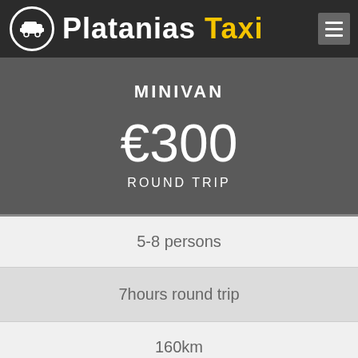Platanias Taxi
MINIVAN
€300
ROUND TRIP
5-8 persons
7hours round trip
160km